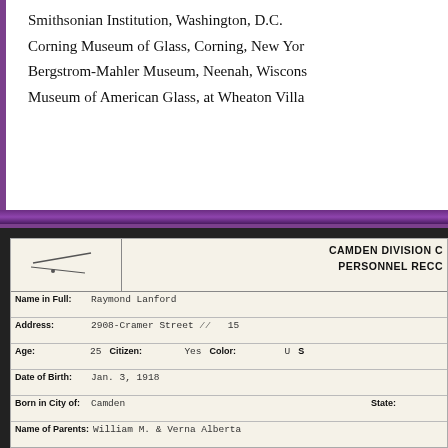Smithsonian Institution, Washington, D.C.
Corning Museum of Glass, Corning, New York
Bergstrom-Mahler Museum, Neenah, Wisconsin
Museum of American Glass, at Wheaton Villa
| Field | Value |
| --- | --- |
| Name in Full: | Raymond Lanford |
| Address: | 2908-Cramer Street [cut]  15... |
| Age: | 25   Citizen: Yes   Color: U   S... |
| Date of Birth: | Jan. 3, 1918 |
| Born in City of: | Camden   State: |
| Name of Parents: | William M. & Verna Alberta |
| Marital Condition: | Single □   Married □   Divorced □   Wid... |